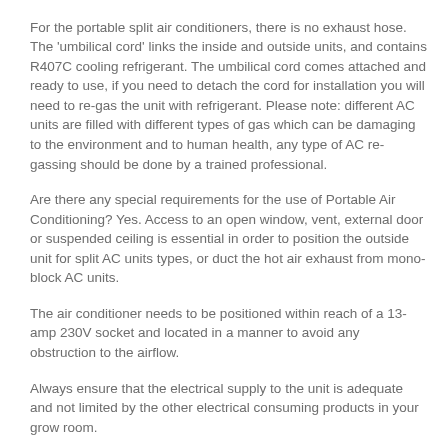away the hot waste air – then just switch on!
For the portable split air conditioners, there is no exhaust hose. The 'umbilical cord' links the inside and outside units, and contains R407C cooling refrigerant. The umbilical cord comes attached and ready to use, if you need to detach the cord for installation you will need to re-gas the unit with refrigerant. Please note: different AC units are filled with different types of gas which can be damaging to the environment and to human health, any type of AC re-gassing should be done by a trained professional.
Are there any special requirements for the use of Portable Air Conditioning? Yes. Access to an open window, vent, external door or suspended ceiling is essential in order to position the outside unit for split AC units types, or duct the hot air exhaust from mono-block AC units.
The air conditioner needs to be positioned within reach of a 13-amp 230V socket and located in a manner to avoid any obstruction to the airflow.
Always ensure that the electrical supply to the unit is adequate and not limited by the other electrical consuming products in your grow room.
Where do I position my Air Conditioning Unit? You obviously do not want to position the air conditioner unit next to the extractor fan. We have included a little diagram below to help